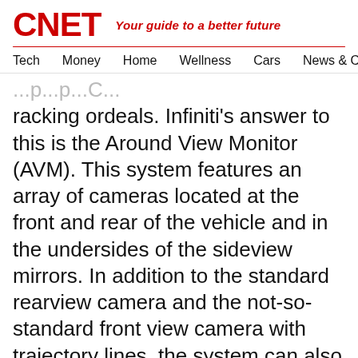CNET — Your guide to a better future
Tech   Money   Home   Wellness   Cars   News & Culture
racking ordeals. Infiniti's answer to this is the Around View Monitor (AVM). This system features an array of cameras located at the front and rear of the vehicle and in the undersides of the sideview mirrors. In addition to the standard rearview camera and the not-so-standard front view camera with trajectory lines, the system can also stitch together views from all four cameras to create a virtual bird's-eye view of the area surrounding the vehicle. Users can see painted ground markings, other vehicles, and